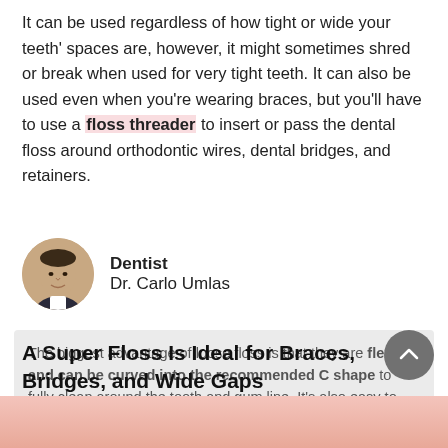It can be used regardless of how tight or wide your teeth' spaces are, however, it might sometimes shred or break when used for very tight teeth. It can also be used even when you're wearing braces, but you'll have to use a floss threader to insert or pass the dental floss around orthodontic wires, dental bridges, and retainers.
Dentist
Dr. Carlo Umlas
The biggest advantage of loose floss is that they are flexible and can be curved into the recommended C shape to fully clean around the tooth and gum line. It's also easy to get into tight spaces between teeth, whether you go for waxed or unwaxed types.
A Super Floss Is Ideal for Braces, Bridges, and Wide Gaps
[Figure (photo): Close-up photo of a person's face near the bottom of the page]